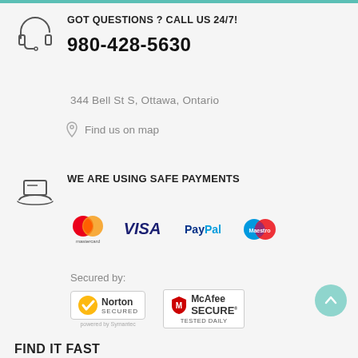GOT QUESTIONS ? CALL US 24/7!
980-428-5630
344 Bell St S, Ottawa, Ontario
Find us on map
WE ARE USING SAFE PAYMENTS
[Figure (logo): Payment logos: Mastercard, VISA, PayPal, Maestro]
Secured by:
[Figure (logo): Norton Secured powered by Symantec and McAfee SECURE TESTED DAILY badges]
FIND IT FAST